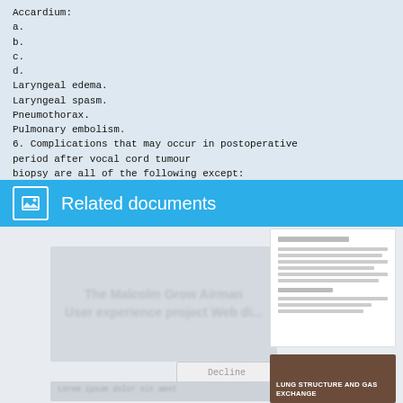Accardium:
a.
b.
c.
d.
Laryngeal edema.
Laryngeal spasm.
Pneumothorax.
Pulmonary embolism.
6. Complications that may occur in postoperative period after vocal cord tumour biopsy are all of the following except:
THANK YOU
Related documents
[Figure (screenshot): Two related document thumbnails: one showing a text document with blurred lines, another showing a brown/tan colored slide with text 'LUNG STRUCTURE AND GAS EXCHANGE'. Left side shows blurred document cards with partial text and a Decline button.]